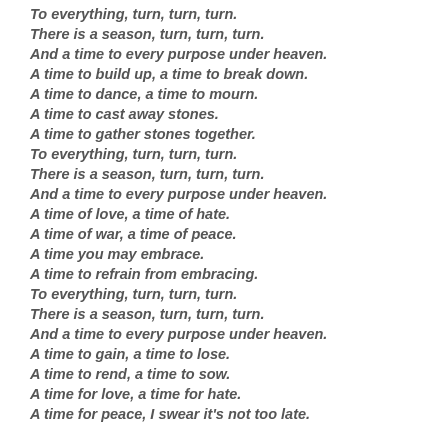To everything, turn, turn, turn.
There is a season, turn, turn, turn.
And a time to every purpose under heaven.
A time to build up, a time to break down.
A time to dance, a time to mourn.
A time to cast away stones.
A time to gather stones together.
To everything, turn, turn, turn.
There is a season, turn, turn, turn.
And a time to every purpose under heaven.
A time of love, a time of hate.
A time of war, a time of peace.
A time you may embrace.
A time to refrain from embracing.
To everything, turn, turn, turn.
There is a season, turn, turn, turn.
And a time to every purpose under heaven.
A time to gain, a time to lose.
A time to rend, a time to sow.
A time for love, a time for hate.
A time for peace, I swear it's not too late.